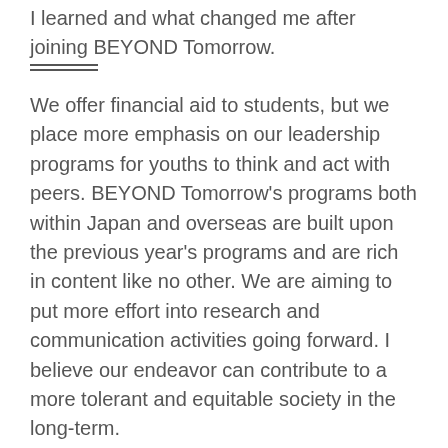I learned and what changed me after joining BEYOND Tomorrow.
We offer financial aid to students, but we place more emphasis on our leadership programs for youths to think and act with peers. BEYOND Tomorrow's programs both within Japan and overseas are built upon the previous year's programs and are rich in content like no other. We are aiming to put more effort into research and communication activities going forward. I believe our endeavor can contribute to a more tolerant and equitable society in the long-term.
To make our challenge more sustainable, we need continuous support.
We are grateful for any bequest offers to direct part of